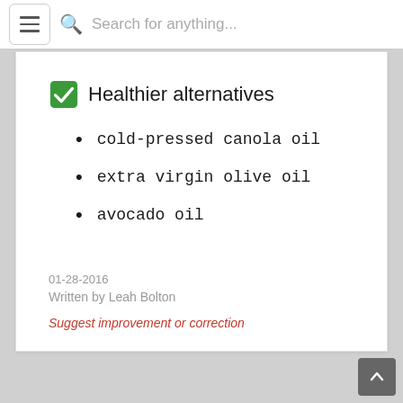Search for anything...
Healthier alternatives
cold-pressed canola oil
extra virgin olive oil
avocado oil
01-28-2016
Written by Leah Bolton
Suggest improvement or correction